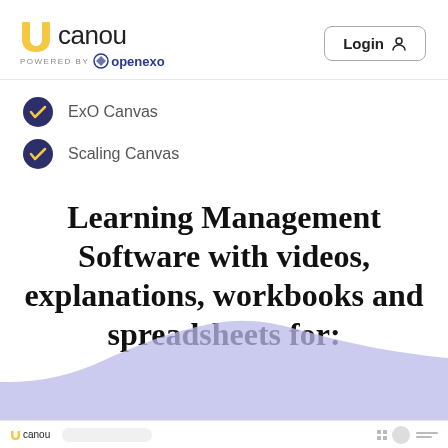[Figure (logo): Ucanou logo with yellow U icon and 'canou' text, 'POWERED BY openexo' subtitle, and a Login button on the right]
ExO Canvas
Scaling Canvas
Learning Management Software with videos, explanations, workbooks and spreadsheets for:
[Figure (screenshot): Partial screenshot of a lavender/purple area chart at the bottom of the page, and a canou app bottom bar below it]